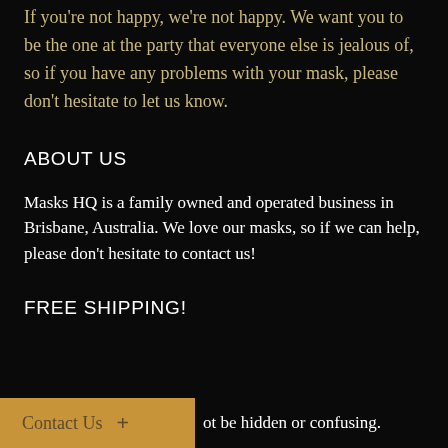If you're not happy, we're not happy. We want you to be the one at the party that everyone else is jealous of, so if you have any problems with your mask, please don't hesitate to let us know.
ABOUT US
Masks HQ is a family owned and operated business in Brisbane, Australia. We love our masks, so if we can help, please don't hesitate to contact us!
FREE SHIPPING!
[Figure (other): Gold 'Contact Us +' button]
ot be hidden or confusing.